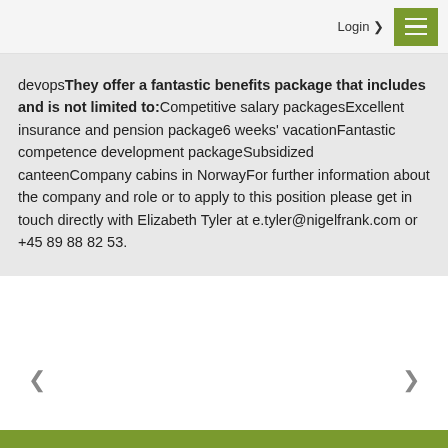Login  ☰
devopsThey offer a fantastic benefits package that includes and is not limited to:Competitive salary packagesExcellent insurance and pension package6 weeks' vacationFantastic competence development packageSubsidized canteenCompany cabins in NorwayFor further information about the company and role or to apply to this position please get in touch directly with Elizabeth Tyler at e.tyler@nigelfrank.com or +45 89 88 82 53.